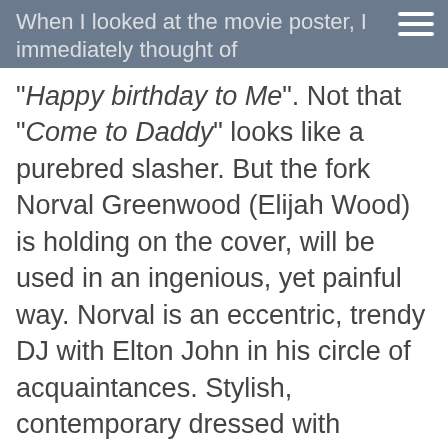When I looked at the movie poster, I immediately thought of
"Happy birthday to Me". Not that "Come to Daddy" looks like a purebred slasher. But the fork Norval Greenwood (Elijah Wood) is holding on the cover, will be used in an ingenious, yet painful way. Norval is an eccentric, trendy DJ with Elton John in his circle of acquaintances. Stylish, contemporary dressed with artistically and strategically placed tattoos. A trimmed Franklin M...